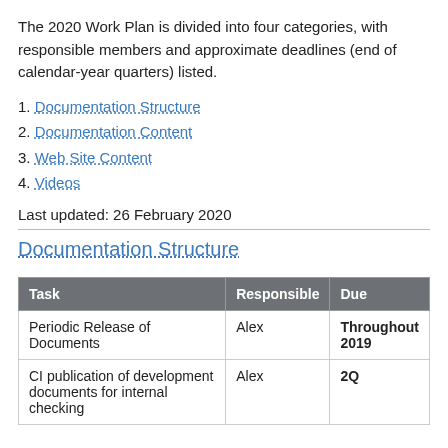The 2020 Work Plan is divided into four categories, with responsible members and approximate deadlines (end of calendar-year quarters) listed.
1. Documentation Structure
2. Documentation Content
3. Web Site Content
4. Videos
Last updated: 26 February 2020
Documentation Structure
| Task | Responsible | Due |
| --- | --- | --- |
| Periodic Release of Documents | Alex | Throughout 2019 |
| CI publication of development documents for internal checking | Alex | 2Q |